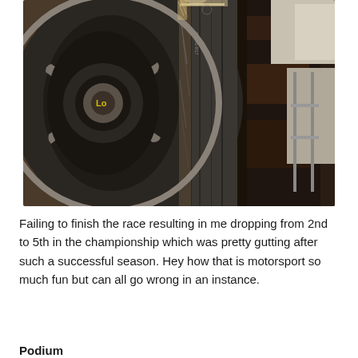[Figure (photo): Close-up photograph of a damaged car tire rubbing against the wheel arch/fender of a racing car. The tire shows significant wear and contact damage on its sidewall. The alloy wheel is a multi-spoke design in silver/grey. The car body panel on the right shows rust and damage. Background shows a garage or workshop setting.]
Failing to finish the race resulting in me dropping from 2nd to 5th in the championship which was pretty gutting after such a successful season. Hey how that is motorsport so much fun but can all go wrong in an instance.
Podium